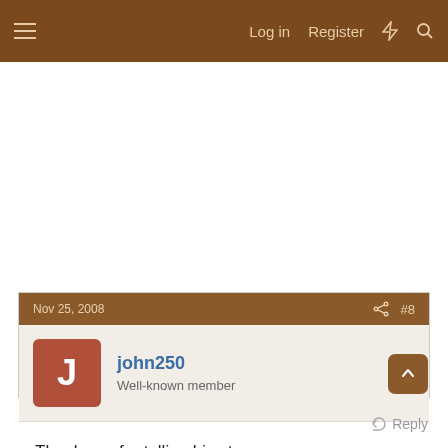Log in  Register
Nov 25, 2008   #8
john250
Well-known member
Thank you for telling his story.